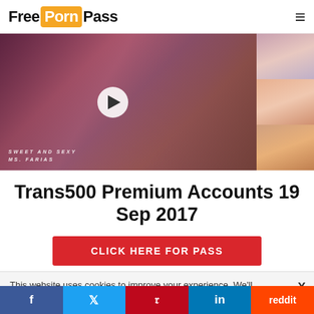Free Porn Pass
[Figure (screenshot): Adult content video thumbnail with play button overlay and three side thumbnails. Watermark text reads SWEET AND SEXY MS. FARIAS]
Trans500 Premium Accounts 19 Sep 2017
CLICK HERE FOR PASS
This website uses cookies to improve your experience. We'll assume you accept this policy as long as you are using this
f  t  p  in  reddit